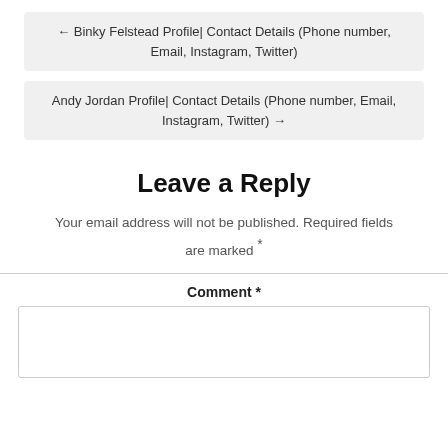← Binky Felstead Profile| Contact Details (Phone number, Email, Instagram, Twitter)
Andy Jordan Profile| Contact Details (Phone number, Email, Instagram, Twitter) →
Leave a Reply
Your email address will not be published. Required fields are marked *
Comment *